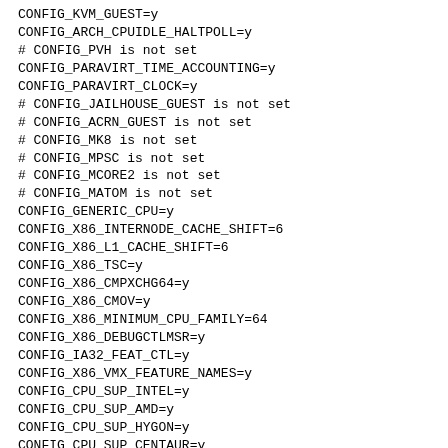CONFIG_KVM_GUEST=y
CONFIG_ARCH_CPUIDLE_HALTPOLL=y
# CONFIG_PVH is not set
CONFIG_PARAVIRT_TIME_ACCOUNTING=y
CONFIG_PARAVIRT_CLOCK=y
# CONFIG_JAILHOUSE_GUEST is not set
# CONFIG_ACRN_GUEST is not set
# CONFIG_MK8 is not set
# CONFIG_MPSC is not set
# CONFIG_MCORE2 is not set
# CONFIG_MATOM is not set
CONFIG_GENERIC_CPU=y
CONFIG_X86_INTERNODE_CACHE_SHIFT=6
CONFIG_X86_L1_CACHE_SHIFT=6
CONFIG_X86_TSC=y
CONFIG_X86_CMPXCHG64=y
CONFIG_X86_CMOV=y
CONFIG_X86_MINIMUM_CPU_FAMILY=64
CONFIG_X86_DEBUGCTLMSR=y
CONFIG_IA32_FEAT_CTL=y
CONFIG_X86_VMX_FEATURE_NAMES=y
CONFIG_CPU_SUP_INTEL=y
CONFIG_CPU_SUP_AMD=y
CONFIG_CPU_SUP_HYGON=y
CONFIG_CPU_SUP_CENTAUR=y
CONFIG_CPU_SUP_ZHAOXIN=y
CONFIG_HPET_TIMER=y
CONFIG_HPET_EMULATE_RTC=y
CONFIG_DMI=y
# CONFIG_GART_IOMMU is not set